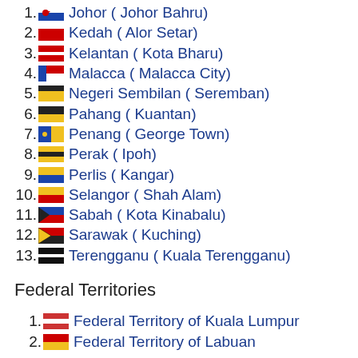1. Johor ( Johor Bahru)
2. Kedah ( Alor Setar)
3. Kelantan ( Kota Bharu)
4. Malacca ( Malacca City)
5. Negeri Sembilan ( Seremban)
6. Pahang ( Kuantan)
7. Penang ( George Town)
8. Perak ( Ipoh)
9. Perlis ( Kangar)
10. Selangor ( Shah Alam)
11. Sabah ( Kota Kinabalu)
12. Sarawak ( Kuching)
13. Terengganu ( Kuala Terengganu)
Federal Territories
1. Federal Territory of Kuala Lumpur
2. Federal Territory of Labuan